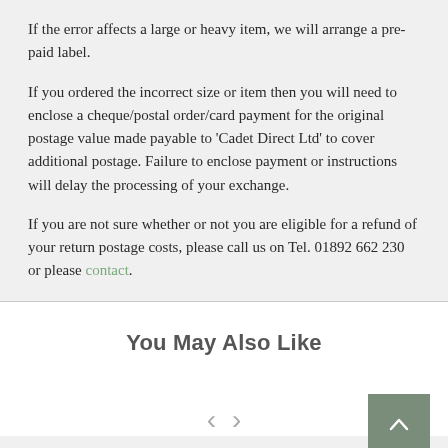If the error affects a large or heavy item, we will arrange a pre-paid label.
If you ordered the incorrect size or item then you will need to enclose a cheque/postal order/card payment for the original postage value made payable to 'Cadet Direct Ltd' to cover additional postage. Failure to enclose payment or instructions will delay the processing of your exchange.
If you are not sure whether or not you are eligible for a refund of your return postage costs, please call us on Tel. 01892 662 230 or please contact.
You May Also Like